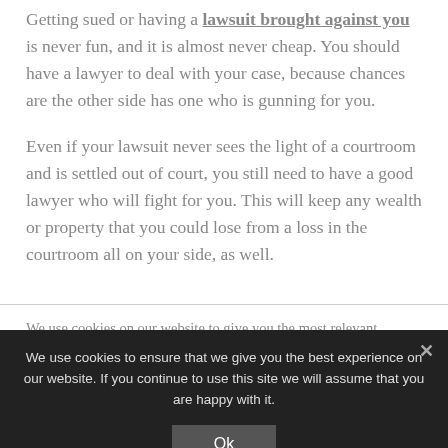Getting sued or having a lawsuit brought against you is never fun, and it is almost never cheap. You should have a lawyer to deal with your case, because chances are the other side has one who is gunning for you.
Even if your lawsuit never sees the light of a courtroom and is settled out of court, you still need to have a good lawyer who will fight for you. This will keep any wealth or property that you could lose from a loss in the courtroom all on your side, as well.
We use cookies on our website to give you the most relevant experience by remembering your preferences and repeat...
We use cookies to ensure that we give you the best experience on our website. If you continue to use this site we will assume that you are happy with it.